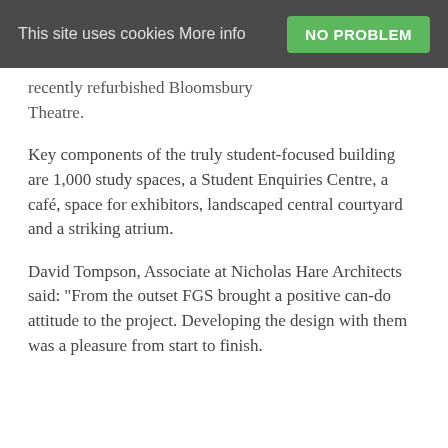This site uses cookies More info  NO PROBLEM
recently refurbished Bloomsbury Theatre.
Key components of the truly student-focused building are 1,000 study spaces, a Student Enquiries Centre, a café, space for exhibitors, landscaped central courtyard and a striking atrium.
David Tompson, Associate at Nicholas Hare Architects said: "From the outset FGS brought a positive can-do attitude to the project. Developing the design with them was a pleasure from start to finish.